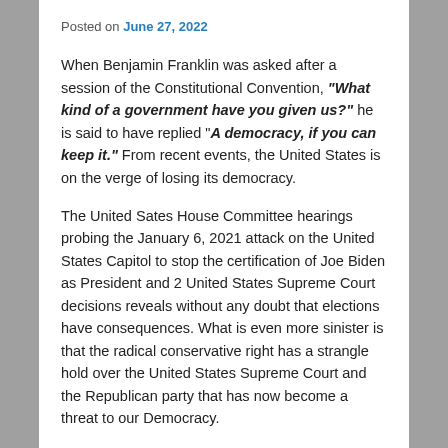Posted on June 27, 2022
When Benjamin Franklin was asked after a session of the Constitutional Convention, "What kind of a government have you given us?" he is said to have replied "A democracy, if you can keep it." From recent events, the United States is on the verge of losing its democracy.
The United Sates House Committee hearings probing the January 6, 2021 attack on the United States Capitol to stop the certification of Joe Biden as President and 2 United States Supreme Court decisions reveals without any doubt that elections have consequences. What is even more sinister is that the radical conservative right has a strangle hold over the United States Supreme Court and the Republican party that has now become a threat to our Democracy.
ROE V. WADE OVERTURNED
On June 24, the United States Supreme Court in the case